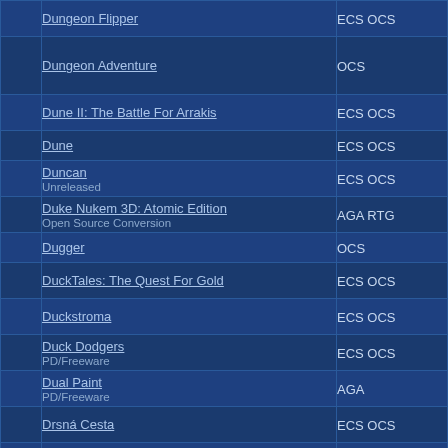| # | Game Title | System |
| --- | --- | --- |
|  | Dungeon Flipper | ECS OCS |
|  | Dungeon Adventure | OCS |
|  | Dune II: The Battle For Arrakis | ECS OCS |
|  | Dune | ECS OCS |
|  | Duncan
Unreleased | ECS OCS |
|  | Duke Nukem 3D: Atomic Edition
Open Source Conversion | AGA RTG |
|  | Dugger | OCS |
|  | DuckTales: The Quest For Gold | ECS OCS |
|  | Duckstroma | ECS OCS |
|  | Duck Dodgers
PD/Freeware | ECS OCS |
|  | Dual Paint
PD/Freeware | AGA |
|  | Drsná Cesta | ECS OCS |
|  | DropZone
Shareware | ECS OCS |
|  | Drop Soldier
Unknown | Unreleased | ECS OCS |
|  | Drop It | ECS OCS |